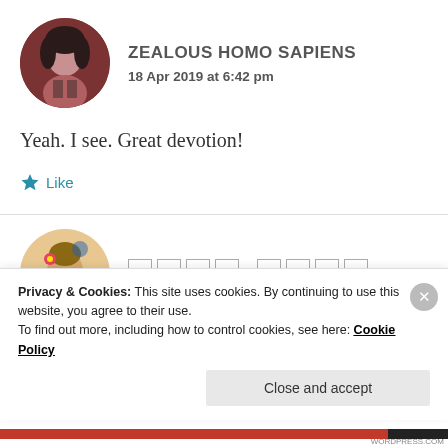[Figure (photo): Circular avatar of a person with dark hair against a reddish-brown background]
ZEALOUS HOMO SAPIENS
18 Apr 2019 at 6:42 pm
Yeah. I see. Great devotion!
★ Like
[Figure (photo): Circular avatar of a colorful illustrated portrait, second commenter with unreadable/tofu name characters]
Privacy & Cookies: This site uses cookies. By continuing to use this website, you agree to their use.
To find out more, including how to control cookies, see here: Cookie Policy
Close and accept